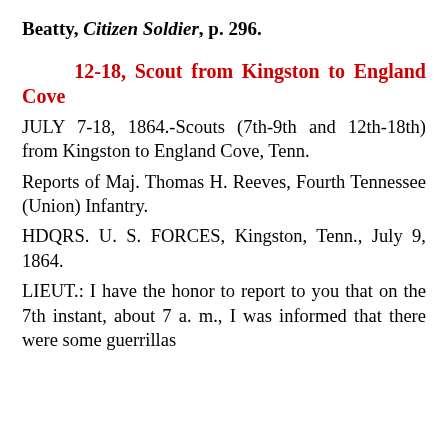Beatty, Citizen Soldier, p. 296.
12-18, Scout from Kingston to England Cove
JULY 7-18, 1864.-Scouts (7th-9th and 12th-18th) from Kingston to England Cove, Tenn.
Reports of Maj. Thomas H. Reeves, Fourth Tennessee (Union) Infantry.
HDQRS. U. S. FORCES, Kingston, Tenn., July 9, 1864.
LIEUT.: I have the honor to report to you that on the 7th instant, about 7 a. m., I was informed that there were some guerrillas about. For. Col. or something of that description.